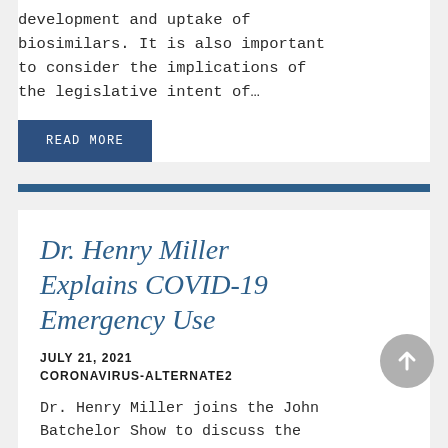development and uptake of biosimilars. It is also important to consider the implications of the legislative intent of…
READ MORE
Dr. Henry Miller Explains COVID-19 Emergency Use
JULY 21, 2021
CORONAVIRUS-ALTERNATE2
Dr. Henry Miller joins the John Batchelor Show to discuss the